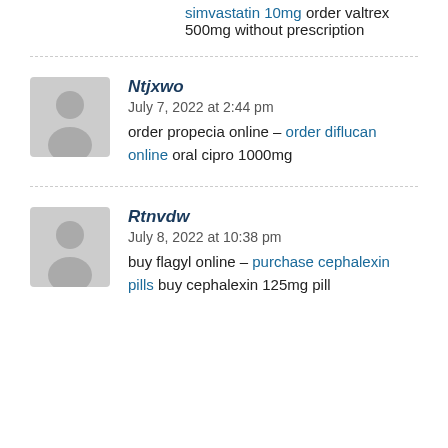simvastatin 10mg order valtrex 500mg without prescription
Ntjxwo
July 7, 2022 at 2:44 pm
order propecia online – order diflucan online oral cipro 1000mg
Rtnvdw
July 8, 2022 at 10:38 pm
buy flagyl online – purchase cephalexin pills buy cephalexin 125mg pill